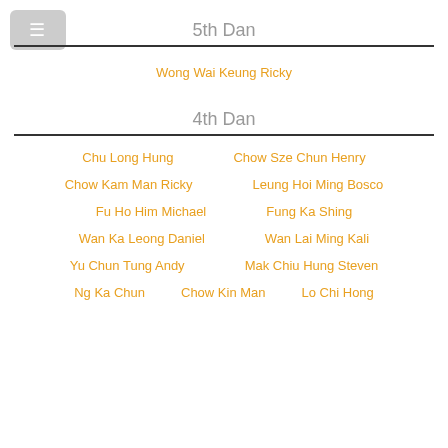5th Dan
Wong Wai Keung Ricky
4th Dan
Chu Long Hung
Chow Sze Chun Henry
Chow Kam Man Ricky
Leung Hoi Ming Bosco
Fu Ho Him Michael
Fung Ka Shing
Wan Ka Leong Daniel
Wan Lai Ming Kali
Yu Chun Tung Andy
Mak Chiu Hung Steven
Ng Ka Chun
Chow Kin Man
Lo Chi Hong